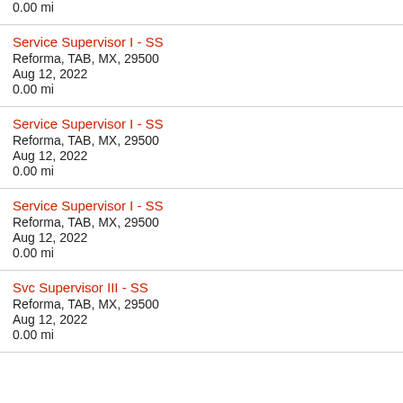0.00 mi
Service Supervisor I - SS
Reforma, TAB, MX, 29500
Aug 12, 2022
0.00 mi
Service Supervisor I - SS
Reforma, TAB, MX, 29500
Aug 12, 2022
0.00 mi
Service Supervisor I - SS
Reforma, TAB, MX, 29500
Aug 12, 2022
0.00 mi
Svc Supervisor III - SS
Reforma, TAB, MX, 29500
Aug 12, 2022
0.00 mi